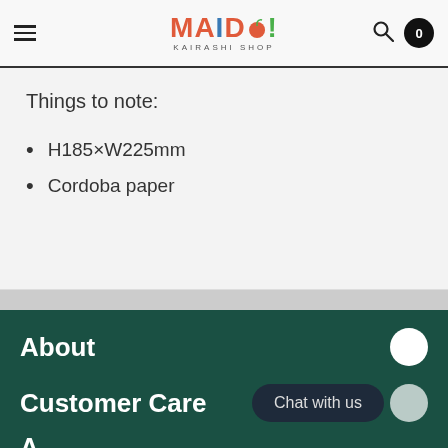MAIDO! KAIRASHI SHOP — navigation header
Things to note:
H185×W225mm
Cordoba paper
About
Customer Care
Chat with us